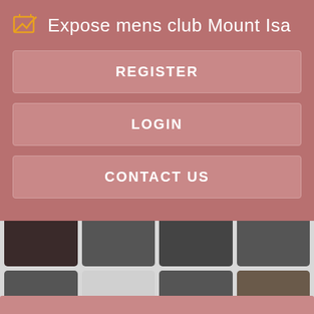Expose mens club Mount Isa
REGISTER
LOGIN
CONTACT US
[Figure (screenshot): Grid of thumbnail images with 'Register NOW for Instant Access' overlays on some cells]
[Figure (other): Bottom pink/rose colored bar]